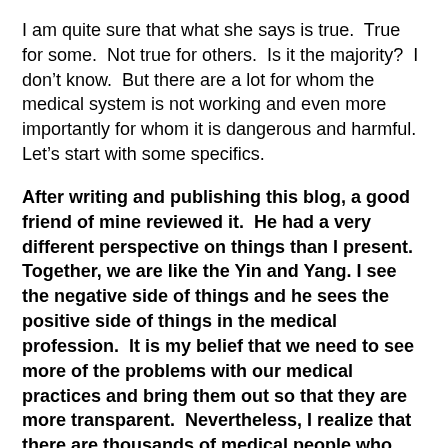I am quite sure that what she says is true.  True for some.  Not true for others.  Is it the majority?  I don't know.  But there are a lot for whom the medical system is not working and even more importantly for whom it is dangerous and harmful.  Let's start with some specifics.
After writing and publishing this blog, a good friend of mine reviewed it.  He had a very different perspective on things than I present.  Together, we are like the Yin and Yang. I see the negative side of things and he sees the positive side of things in the medical profession.  It is my belief that we need to see more of the problems with our medical practices and bring them out so that they are more transparent.  Nevertheless, I realize that there are thousands of medical people who work hard and try to do their best